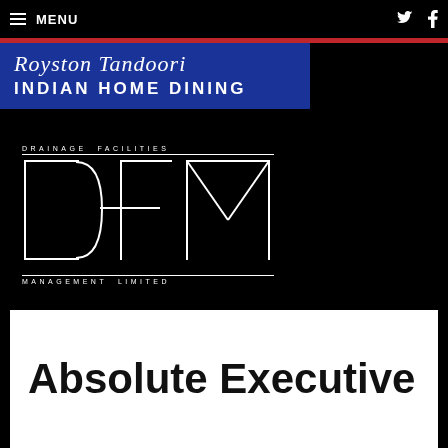≡ MENU
[Figure (logo): Royston Tandoori Indian Home Dining logo — blue rectangle with italic script 'Royston Tandoori' above bold spaced text 'INDIAN HOME DINING']
[Figure (logo): Drainage Facilities Management Limited (DFM) logo — white outline letters D, F, M with spaced text 'DRAINAGE FACILITIES' above and 'MANAGEMENT LIMITED' below, on black background]
Absolute Executive